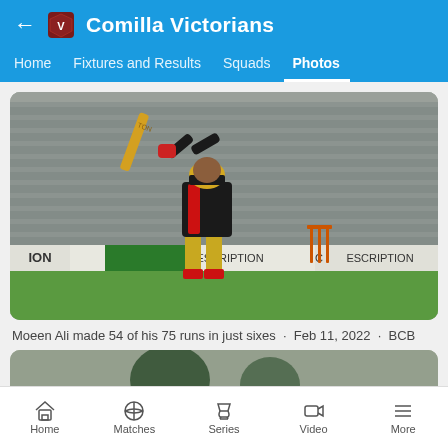Comilla Victorians
Home  Fixtures and Results  Squads  Photos
[Figure (photo): Cricket player (Moeen Ali) in Comilla Victorians red and black kit batting, hitting sixes. Stadium seating visible in background. Advertising boards show PRESCRIPTION. Wickets visible on right side.]
Moeen Ali made 54 of his 75 runs in just sixes  ·  Feb 11, 2022  ·  BCB
[Figure (photo): Partial view of a second cricket photo, blurred, partially visible at bottom of screen.]
Home  Matches  Series  Video  More